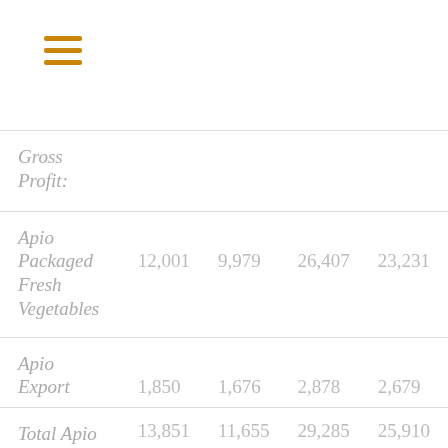[Figure (other): Hamburger menu icon with three horizontal orange lines]
|  |  |  |  |  |
| --- | --- | --- | --- | --- |
| Gross Profit: |  |  |  |  |
| Apio Packaged Fresh Vegetables | 12,001 | 9,979 | 26,407 | 23,231 |
| Apio Export | 1,850 | 1,676 | 2,878 | 2,679 |
| Total Apio | 13,851 | 11,655 | 29,285 | 25,910 |